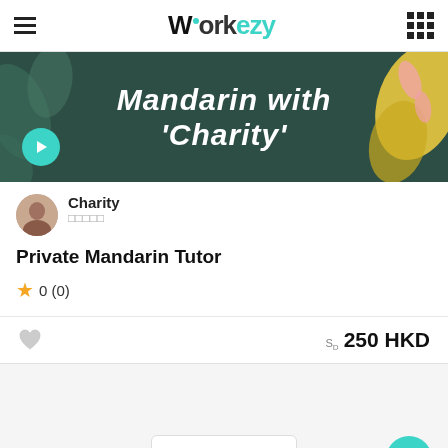Workezy
[Figure (illustration): Mandarin with Charity promotional banner with teal/dark green background, decorative leaf shapes, pink and yellow accents, white italic text reading 'Mandarin with Charity', and a teal play button in the lower left.]
Charity
□□□□□
Private Mandarin Tutor
★ 0 (0)
SD 250 HKD
□□□□